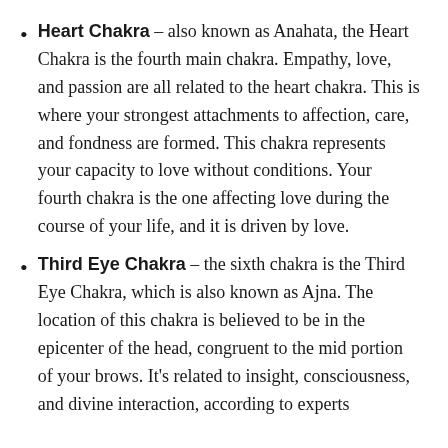Heart Chakra – also known as Anahata, the Heart Chakra is the fourth main chakra. Empathy, love, and passion are all related to the heart chakra. This is where your strongest attachments to affection, care, and fondness are formed. This chakra represents your capacity to love without conditions. Your fourth chakra is the one affecting love during the course of your life, and it is driven by love.
Third Eye Chakra – the sixth chakra is the Third Eye Chakra, which is also known as Ajna. The location of this chakra is believed to be in the epicenter of the head, congruent to the mid portion of your brows. It's related to insight, consciousness, and divine interaction, according to experts